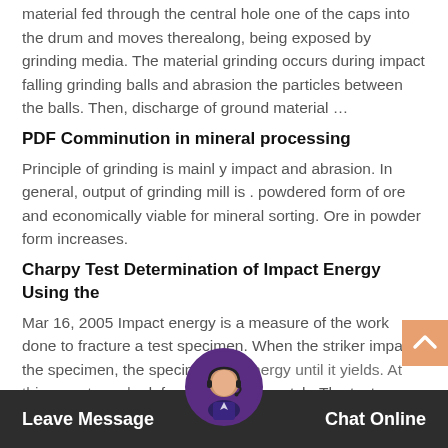material fed through the central hole one of the caps into the drum and moves therealong, being exposed by grinding media. The material grinding occurs during impact falling grinding balls and abrasion the particles between the balls. Then, discharge of ground material …
PDF Comminution in mineral processing
Principle of grinding is mainl y impact and abrasion. In general, output of grinding mill is . powdered form of ore and economically viable for mineral sorting. Ore in powder form increases.
Charpy Test Determination of Impact Energy Using the
Mar 16, 2005 Impact energy is a measure of the work done to fracture a test specimen. When the striker impacts the specimen, the specimen w b energy until it yields. At this en w to unde deformation of the notch. The test specimen …
[Figure (other): Dark bottom bar overlay with 'Leave Message' on the left and 'Chat Online' on the right in white bold text, with a circular avatar of a woman with a headset in the center.]